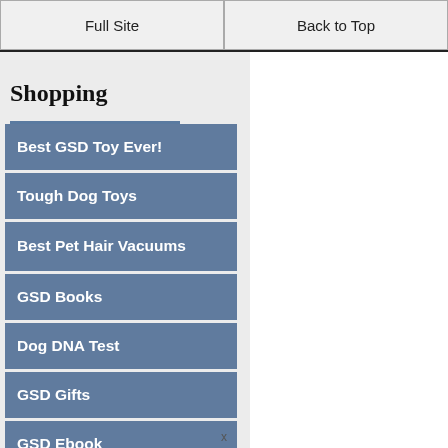Full Site | Back to Top
Shopping
Best GSD Toy Ever!
Tough Dog Toys
Best Pet Hair Vacuums
GSD Books
Dog DNA Test
GSD Gifts
GSD Ebook
x